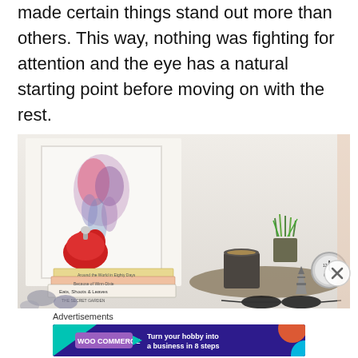made certain things stand out more than others. This way, nothing was fighting for attention and the eye has a natural starting point before moving on with the rest.
[Figure (photo): A bedside table styled with stacked books (including 'Around the World in Eighty Days', 'Eats, Shoots & Leaves', 'The Secret Garden'), a red heart-shaped perfume bottle, a framed floral artwork, a gold candle, a small Eiffel Tower figurine, an alarm clock, sunglasses, grass plant, and decorative stones on a tray.]
Advertisements
[Figure (screenshot): WooCommerce advertisement banner: purple/dark background with teal triangle, orange circle, and cyan circle decorations. WooCommerce logo on left, text 'Turn your hobby into a business in 8 steps' on right.]